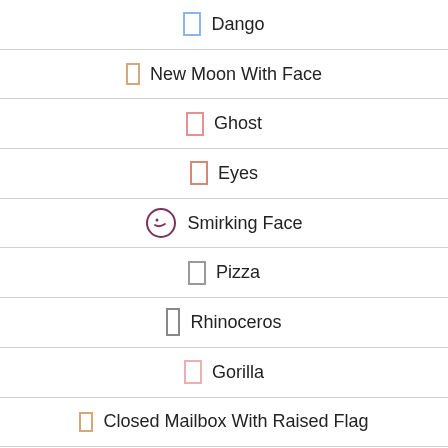Dango
New Moon With Face
Ghost
Eyes
Smirking Face
Pizza
Rhinoceros
Gorilla
Closed Mailbox With Raised Flag